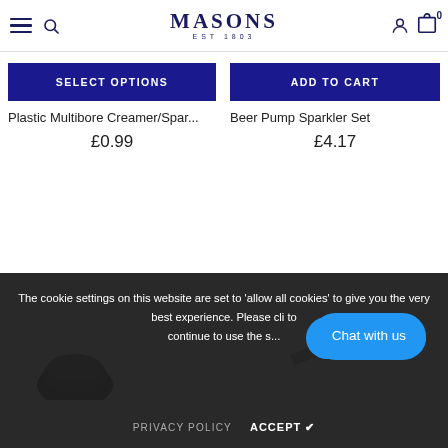MASONS EST 1803
SELECT OPTIONS
ADD TO CART
Plastic Multibore Creamer/Spar...
£0.99
Beer Pump Sparkler Set
£4.17
[Figure (photo): Product image left - partial dark product visible]
[Figure (photo): Product image right - metal nozzle/tap component visible]
The cookie settings on this website are set to 'allow all cookies' to give you the very best experience. Please cli... to continue to use the s...
Chat with us
PRIVACY POLICY
ACCEPT ✔